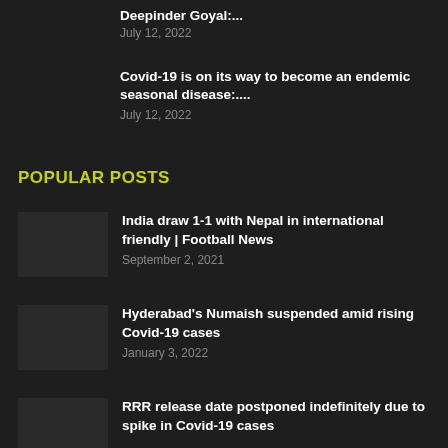Deepinder Goyal:...
July 12, 2022
Covid-19 is on its way to become an endemic seasonal disease:....
July 12, 2022
POPULAR POSTS
India draw 1-1 with Nepal in international friendly | Football News
September 2, 2021
Hyderabad's Numaish suspended amid rising Covid-19 cases
January 3, 2022
RRR release date postponed indefinitely due to spike in Covid-19 cases